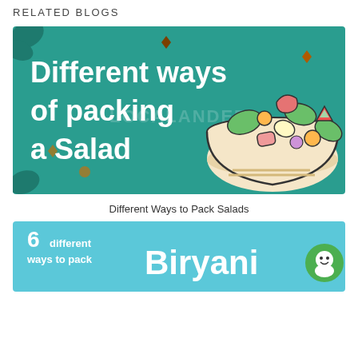RELATED BLOGS
[Figure (illustration): Illustrated blog thumbnail with teal/green background showing text 'Different ways of packing a Salad' in white chunky font, with a cartoon bowl of colorful salad on the right side. Watermark text visible in center.]
Different Ways to Pack Salads
[Figure (illustration): Blog thumbnail with light blue background. Left side shows '6 different ways to pack' in white bold text. Center shows 'Biryani' in large white bold font. Right side shows a green circular icon with a white face/emoji.]